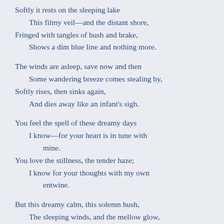Softly it rests on the sleeping lake
    This filmy veil—and the distant shore,
Fringed with tangles of bush and brake,
    Shows a dim blue line and nothing more.

The winds are asleep, save now and then
    Some wandering breeze comes stealing by,
Softly rises, then sinks again,
    And dies away like an infant's sigh.

You feel the spell of these dreamy days
    I know—for your heart is in tune with
        mine.
You love the stillness, the tender haze;
    I know for your thoughts with my own
        entwine.

But this dreamy calm, this solemn hush,
    The sleeping winds, and the mellow glow,
Only foretell the tempest's rush,
    The icy blast, and the whirling snow.